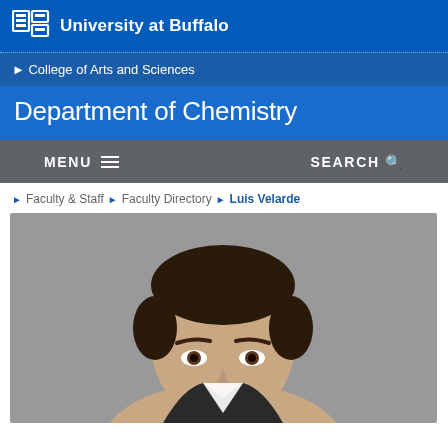University at Buffalo
College of Arts and Sciences
Department of Chemistry
MENU  SEARCH
Faculty & Staff  Faculty Directory  Luis Velarde
[Figure (photo): Headshot portrait of Luis Velarde, a man with short dark hair, against a grey background]